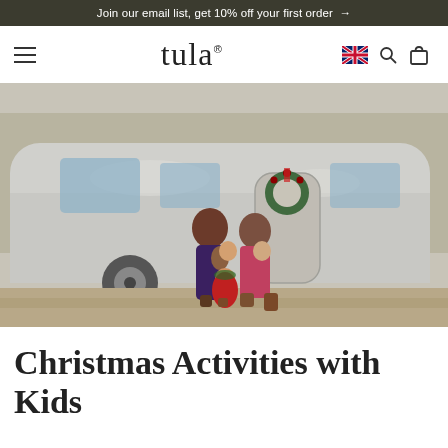Join our email list, get 10% off your first order →
tula
[Figure (photo): A family with a man, woman, and three young children standing in front of a silver Airstream trailer. The trailer has a Christmas wreath on its door. The family is dressed in festive holiday attire — the woman wears pink/red pants, the man wears a flannel shirt. One child wears a red dress, and one wears a floral crown. Outdoor setting with dry ground and trees.]
Christmas Activities with Kids